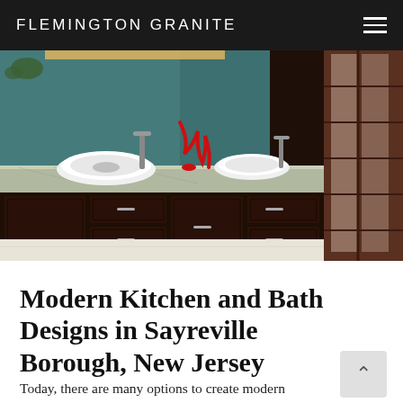FLEMINGTON GRANITE
[Figure (photo): Interior bathroom photo showing a modern vanity with dark wood cabinets, granite countertop, two white vessel sinks, red decorative sculpture, and a frosted glass panel door on the right.]
Modern Kitchen and Bath Designs in Sayreville Borough, New Jersey
Today, there are many options to create modern